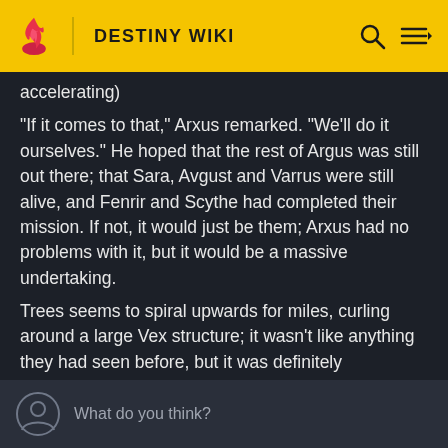DESTINY WIKI
accelerating)
"If it comes to that," Arxus remarked. "We'll do it ourselves." He hoped that the rest of Argus was still out there; that Sara, Avgust and Varrus were still alive, and Fenrir and Scythe had completed their mission. If not, it would just be them; Arxus had no problems with it, but it would be a massive undertaking.
Trees seems to spiral upwards for miles, curling around a large Vex structure; it wasn't like anything they had seen before, but it was definitely incomplete. The tip of the structure appeared more skeletal and bare-bones,
What do you think?